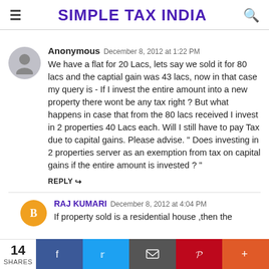SIMPLE TAX INDIA
Anonymous December 8, 2012 at 1:22 PM
We have a flat for 20 Lacs, lets say we sold it for 80 lacs and the captial gain was 43 lacs, now in that case my query is - If I invest the entire amount into a new property there wont be any tax right ? But what happens in case that from the 80 lacs received I invest in 2 properties 40 Lacs each. Will I still have to pay Tax due to capital gains. Please advise. " Does investing in 2 properties server as an exemption from tax on capital gains if the entire amount is invested ? "
REPLY
RAJ KUMARI December 8, 2012 at 4:04 PM
If property sold is a residential house ,then the